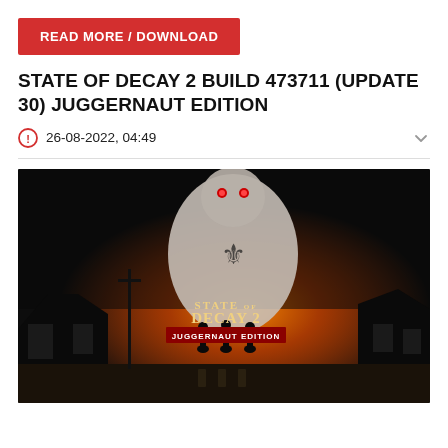READ MORE / DOWNLOAD
STATE OF DECAY 2 BUILD 473711 (UPDATE 30) JUGGERNAUT EDITION
26-08-2022, 04:49
[Figure (photo): State of Decay 2 Juggernaut Edition game promotional image showing a large zombie creature towering over three silhouetted survivors walking toward a fiery orange sunset background, with the game title 'State of Decay 2 Juggernaut Edition' displayed in the center]